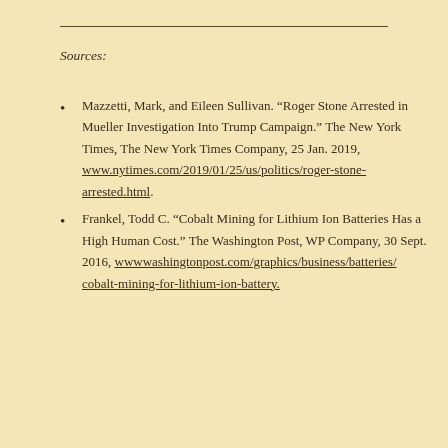Sources:
Mazzetti, Mark, and Eileen Sullivan. “Roger Stone Arrested in Mueller Investigation Into Trump Campaign.” The New York Times, The New York Times Company, 25 Jan. 2019, www.nytimes.com/2019/01/25/us/politics/roger-stone-arrested.html.
Frankel, Todd C. “Cobalt Mining for Lithium Ion Batteries Has a High Human Cost.” The Washington Post, WP Company, 30 Sept. 2016, wwwwashingtonpost.com/graphics/business/batteries/cobalt-mining-for-lithium-ion-battery.